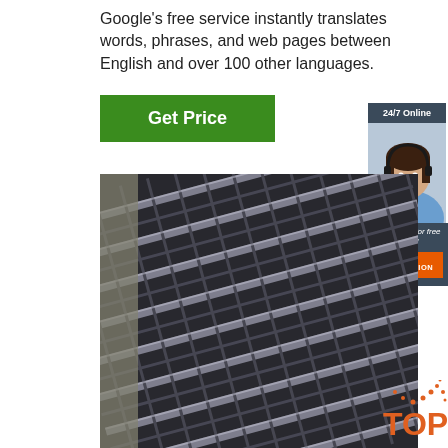Google's free service instantly translates words, phrases, and web pages between English and over 100 other languages.
[Figure (other): Green 'Get Price' button]
[Figure (other): 24/7 Online chat widget with woman wearing headset, 'Click here for free chat!' text, and orange QUOTATION button]
[Figure (photo): Close-up photograph of stacked steel I-beams or angle iron viewed from below at an angle]
[Figure (other): Orange 'TOP' badge with dotted arc above text in bottom-right corner]